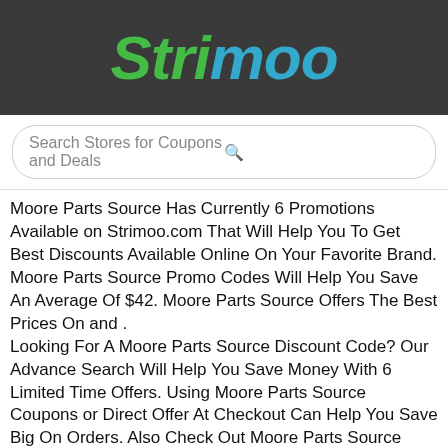[Figure (logo): Strimoo logo in italic bold font, 'Str' in green and 'imoo' in teal/blue, on dark gray background]
Search Stores for Coupons and Deals
Moore Parts Source Has Currently 6 Promotions Available on Strimoo.com That Will Help You To Get Best Discounts Available Online On Your Favorite Brand. Moore Parts Source Promo Codes Will Help You Save An Average Of $42. Moore Parts Source Offers The Best Prices On and .
Looking For A Moore Parts Source Discount Code? Our Advance Search Will Help You Save Money With 6 Limited Time Offers. Using Moore Parts Source Coupons or Direct Offer At Checkout Can Help You Save Big On Orders. Also Check Out Moore Parts Source Sales & Clearance Section Where You Can Stock Up On Discounted Merchandise. Items Are Usually Posted Daily. Our Most Recent Moore Parts Source Promo Code Was Added On September 2022.
Shopping At Festive Season for Moore Parts Source? You Can Hunt For Special Discount Codes Dedicated To That Event Such As Flash Sale, Or Holiday Shopping Occasion like Halloween, Back to School, Christmas, Boxing Day Sales, Back Friday, Cyber Monday, Cultural Holidays Like Eid, Diwali